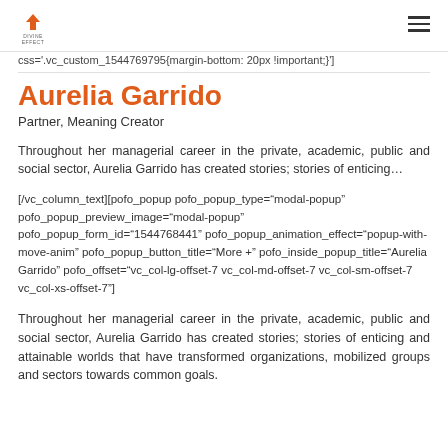Divine Effect logo and hamburger menu
css='.vc_custom_1544769795'{margin-bottom: 20px !important;}
Aurelia Garrido
Partner, Meaning Creator
Throughout her managerial career in the private, academic, public and social sector, Aurelia Garrido has created stories; stories of enticing…
[/vc_column_text][pofo_popup pofo_popup_type="modal-popup" pofo_popup_preview_image="modal-popup" pofo_popup_form_id="1544768441" pofo_popup_animation_effect="popup-with-move-anim" pofo_popup_button_title="More +" pofo_inside_popup_title="Aurelia Garrido" pofo_offset="vc_col-lg-offset-7 vc_col-md-offset-7 vc_col-sm-offset-7 vc_col-xs-offset-7"]
Throughout her managerial career in the private, academic, public and social sector, Aurelia Garrido has created stories; stories of enticing and attainable worlds that have transformed organizations, mobilized groups and sectors towards common goals.